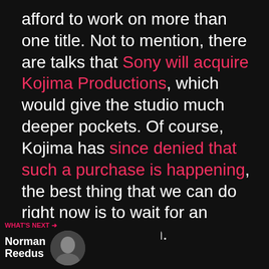afford to work on more than one title. Not to mention, there are talks that Sony will acquire Kojima Productions, which would give the studio much deeper pockets. Of course, Kojima has since denied that such a purchase is happening, the best thing that we can do right now is to wait for an actual confirmation.
[Figure (other): Advertisement banner showing text 'DON'T TEXT AND' with a cartoon red car illustration. Has a close (X) button in the top right.]